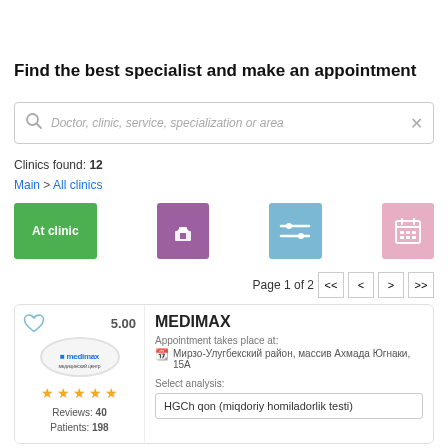Find the best specialist and make an appointment
Doctor, clinic, service, specialization or area
Clinics found: 12
Main > All clinics
[Figure (screenshot): UI buttons: At clinic (green), gift icon (purple), filter icon (blue), calendar icon (pink)]
Page 1 of 2
MEDIMAX
Appointment takes place at:
Мирзо-Улугбекский район, массив Ахмада Югнаки, 15А
Select analysis:
HGCh qon (miqdoriy homiladorlik testi)
5.00
Reviews: 40
Patients: 198